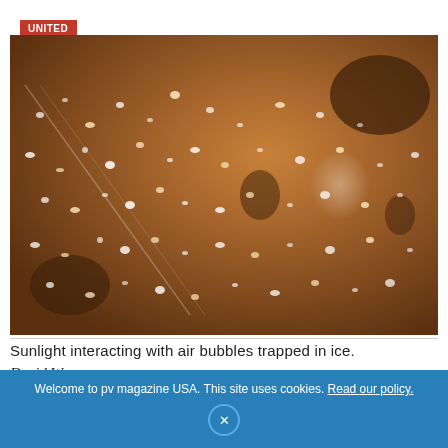UNITED STATES
[Figure (photo): Close-up photograph of sunlight interacting with air bubbles trapped in ice, showing a brown/amber-toned textured surface with white glittering reflections scattered across it.]
Sunlight interacting with air bubbles trapped in ice.
David Wagman
Welcome to pv magazine USA. This site uses cookies. Read our policy.